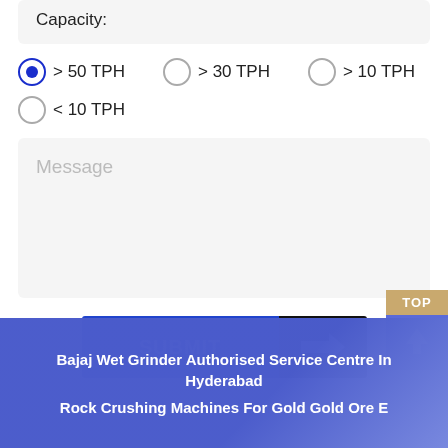Capacity:
> 50 TPH (selected), > 30 TPH, > 10 TPH
< 10 TPH
Message
SUBMIT
TOP
Bajaj Wet Grinder Authorised Service Centre In Hyderabad
Rock Crushing Machines For Gold Gold Ore E